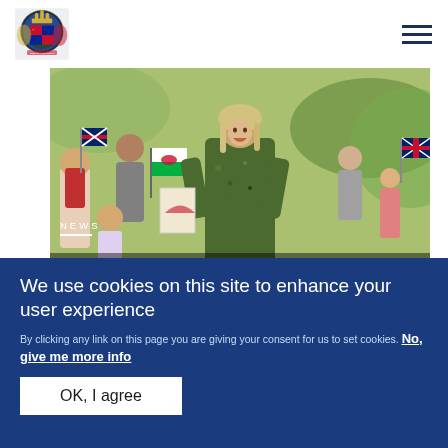Royal.uk — navigation header with logo and hamburger menu
[Figure (photo): A woman in a green floral dress laughing and walking among children waving Union Jack and Welsh Dragon flags at an outdoor event]
NEWS
The Royal Week 2-8 July
We use cookies on this site to enhance your user experience
By clicking any link on this page you are giving your consent for us to set cookies. No, give me more info
OK, I agree